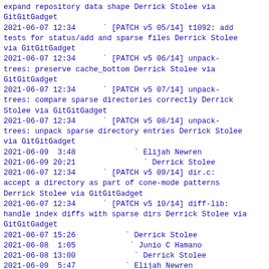expand repository data shape Derrick Stolee via GitGitGadget
2021-06-07 12:34      ` [PATCH v5 05/14] t1092: add tests for status/add and sparse files Derrick Stolee via GitGitGadget
2021-06-07 12:34      ` [PATCH v5 06/14] unpack-trees: preserve cache_bottom Derrick Stolee via GitGitGadget
2021-06-07 12:34      ` [PATCH v5 07/14] unpack-trees: compare sparse directories correctly Derrick Stolee via GitGitGadget
2021-06-07 12:34      ` [PATCH v5 08/14] unpack-trees: unpack sparse directory entries Derrick Stolee via GitGitGadget
2021-06-09  3:48             ` Elijah Newren
2021-06-09 20:21               ` Derrick Stolee
2021-06-07 12:34      ` [PATCH v5 09/14] dir.c: accept a directory as part of cone-mode patterns Derrick Stolee via GitGitGadget
2021-06-07 12:34      ` [PATCH v5 10/14] diff-lib: handle index diffs with sparse dirs Derrick Stolee via GitGitGadget
2021-06-07 15:26            ` Derrick Stolee
2021-06-08  1:05             ` Junio C Hamano
2021-06-08 13:00              ` Derrick Stolee
2021-06-09  5:47            ` Elijah Newren
2021-06-09  6:32             ` Junio C Hamano
2021-06-09  8:11              ` Elijah Newren
2021-06-09 20:33               ` Derrick Stolee
2021-06-10 17:45               ` Derrick Stolee